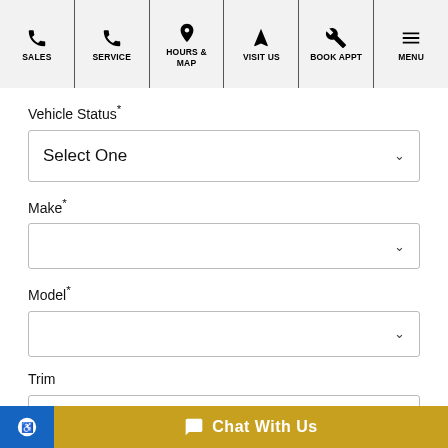SALES | SERVICE | HOURS & MAP | VISIT US | BOOK APPT | MENU
Vehicle Status*
Select One
Make*
Model*
Trim
Year*
Chat With Us